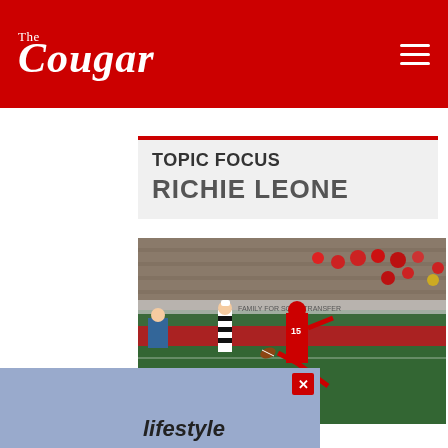The Cougar
TOPIC FOCUS
RICHIE LEONE
[Figure (photo): Football player wearing red uniform number 15 kicking a ball on a stadium field at night. A referee in black and white stripes stands nearby. Bleachers with spectators in the background. Red track surrounds the field.]
lifestyle